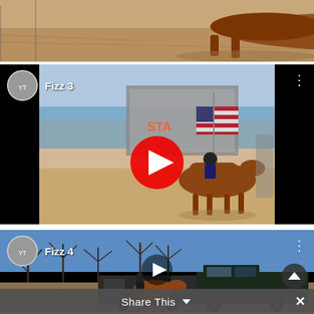[Figure (photo): Top portion of a photo showing a horse lying on sandy/dirt ground, partially cropped]
[Figure (screenshot): YouTube video embed titled 'Fizz 3' showing a rider on a chestnut horse carrying an American flag in a rodeo arena, with YouTube play button overlay]
[Figure (screenshot): YouTube video embed titled 'Fizz 4' showing a rider on a chestnut horse with bare winter trees and a pickup truck with horse trailer in background, with play button overlay]
Share This